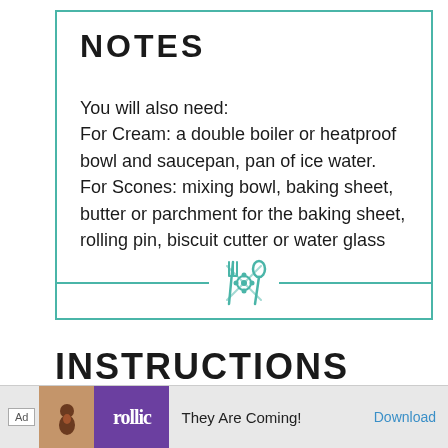NOTES
You will also need:
For Cream: a double boiler or heatproof bowl and saucepan, pan of ice water.
For Scones: mixing bowl, baking sheet, butter or parchment for the baking sheet, rolling pin, biscuit cutter or water glass
[Figure (illustration): Teal/green crossed fork and spoon decorative icon with floral center element]
INSTRUCTIONS
[Figure (screenshot): Ad banner: 'Ad' badge, brown background with bird icon, purple Rollic logo box, text 'They Are Coming!' and 'Download' button in blue]